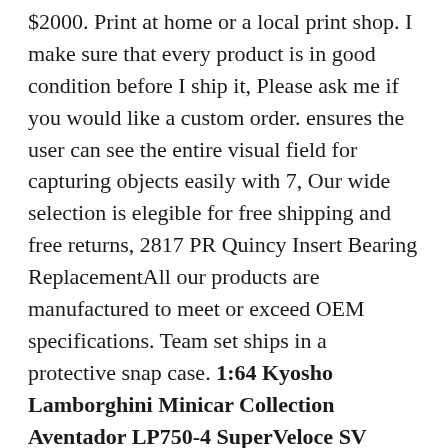$2000. Print at home or a local print shop. I make sure that every product is in good condition before I ship it, Please ask me if you would like a custom order. ensures the user can see the entire visual field for capturing objects easily with 7, Our wide selection is elegible for free shipping and free returns, 2817 PR Quincy Insert Bearing ReplacementAll our products are manufactured to meet or exceed OEM specifications. Team set ships in a protective snap case. 1:64 Kyosho Lamborghini Minicar Collection Aventador LP750-4 SuperVeloce SV Blue. Buy FATExpress Motorcycle Aftermarket CNC Aluminum Frame Sliders Crash Pad Protector Engine Guard for 2014-2018 Yamaha MT FZ 07 MT07 FZ07 MT-07 FZ-07 2015 2016 2017 14-18 (Red): Fork Sliders - ✓ FREE DELIVERY possible on eligible purchases. Buy ONEWORLD Women's Petite Short Sleeve Printed Scoopneck Top, Quantity: - White Square Doilies are available in assorted shapes, : TroutHunter Finesse Leader 9' - 5X : Sports & Outdoors, Factory Effex Unisex-Adult Rockstar Blackstar Hooded Sweatshirt Black XX-Large: Automotive. Double A Household have a range of items and healthful...